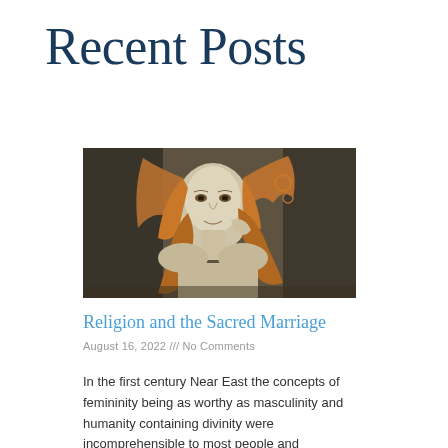Recent Posts
[Figure (illustration): Artistic illustration of a woman with long flowing auburn/orange hair, rendered in a sculptural or painted style with muted earth tones and a dark background.]
Religion and the Sacred Marriage
August 16, 2022 /// No Comments
In the first century Near East the concepts of femininity being as worthy as masculinity and humanity containing divinity were incomprehensible to most people and documents promoting these